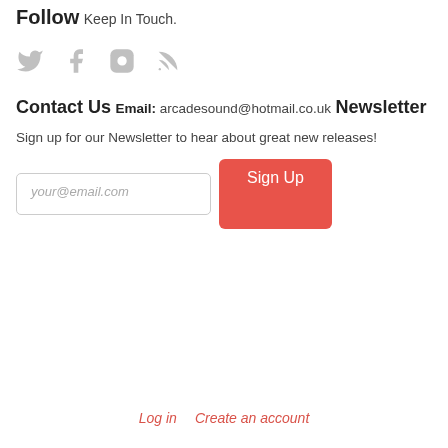Follow
Keep In Touch.
[Figure (illustration): Social media icons: Twitter, Facebook, Instagram, RSS feed — all in light grey]
Contact Us
Email: arcadesound@hotmail.co.uk
Newsletter
Sign up for our Newsletter to hear about great new releases!
[Figure (screenshot): Email input field with placeholder your@email.com and a red Sign Up button]
Log in   Create an account